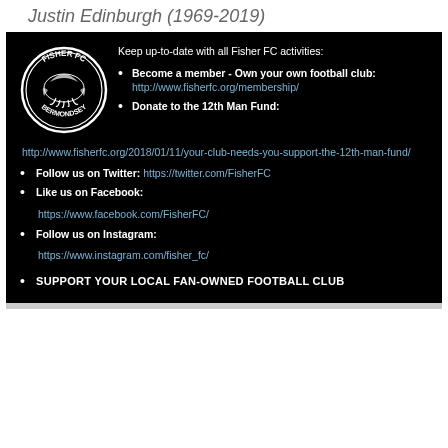Justin Edinburgh (1969-2019)
[Figure (logo): Fisher FC Bermondsey circular club badge/logo in black and white]
Keep up-to-date with all Fisher FC activities:
Become a member - Own your own football club: http://www.fisherfc.org/membership/
Donate to the 12th Man Fund: http://www.fisherfc.org/2018/01/11/your-club-needs-you-support-the-12th-man-fund/
Follow us on Twitter: https://twitter.com/FisherFC
Like us on Facebook: https://www.facebook.com/FisherFC/
Follow us on Instagram: https://www.instagram.com/fisher_fc/
SUPPORT YOUR LOCAL FAN-OWNED FOOTBALL CLUB